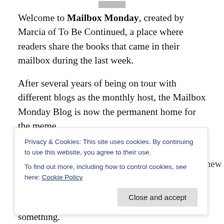[Figure (other): Small grey image/logo placeholder at top center]
Welcome to Mailbox Monday, created by Marcia of To Be Continued, a place where readers share the books that came in their mailbox during the last week.
After several years of being on tour with different blogs as the monthly host, the Mailbox Monday Blog is now the permanent home for the meme.
Last week I attended BEA and that means lots of new...
Privacy & Cookies: This site uses cookies. By continuing to use this website, you agree to their use.
To find out more, including how to control cookies, see here: Cookie Policy
off! I think the book gods were trying to tell me something.